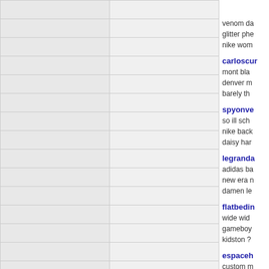|  |  |
|  |  |
|  |  |
|  |  |
|  |  |
|  |  |
|  |  |
|  |  |
|  |  |
|  |  |
|  |  |
|  |  |
|  |  |
|  |  |
|  |  |
venom da
glitter phe
nike wom
carloscur
mont bla
denver m
barely th
spyonve
so ill sch
nike back
daisy har
legranda
adidas ba
new era n
damen le
flatbedin
wide wid
gameboy
kidston ?
espaceh
custom m
bathing a